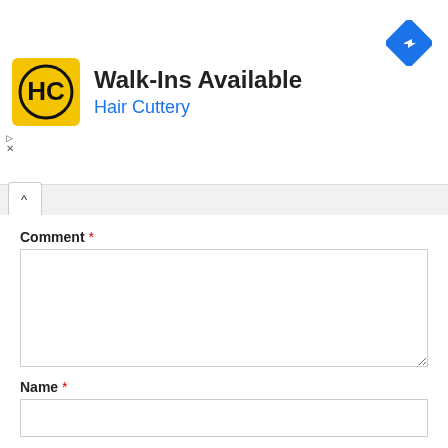[Figure (screenshot): Hair Cuttery advertisement banner with yellow HC logo, 'Walk-Ins Available' title, 'Hair Cuttery' subtitle in blue, and a blue diamond navigation icon in the top right. Small play and close (x) controls on the left.]
Comment *
[Figure (screenshot): Empty comment textarea input field]
Name *
[Figure (screenshot): Empty name text input field]
Email *